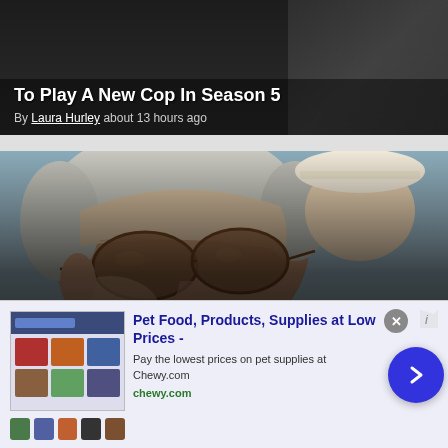To Play A New Cop In Season 5
By Laura Hurley about 13 hours ago
[Figure (photo): Close-up photo of an elderly man wearing brown/amber-tinted oval sunglasses, outdoors in bright light. Another person wearing a hat is visible in the background.]
Knives Out’s Rian Johnson Explains The Meaning Behind Sequel Glass Onion’s Title
By Adreon Patterson about 13 hours ago
[Figure (advertisement): Advertisement for Chewy.com - Pet Food, Products, Supplies at Low Prices. Shows product grid image on left, text content in center, and a blue circular arrow button on the right. Bottom shows small product icons.]